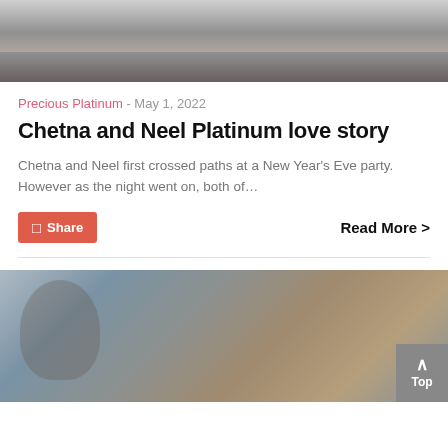[Figure (photo): Black and white photo of a couple, partially visible at top of page]
Precious Platinum - May 1, 2022
Chetna and Neel Platinum love story
Chetna and Neel first crossed paths at a New Year's Eve party. However as the night went on, both of...
Share   Read More >
[Figure (photo): Color photo of a person outdoors, blurred background with buildings]